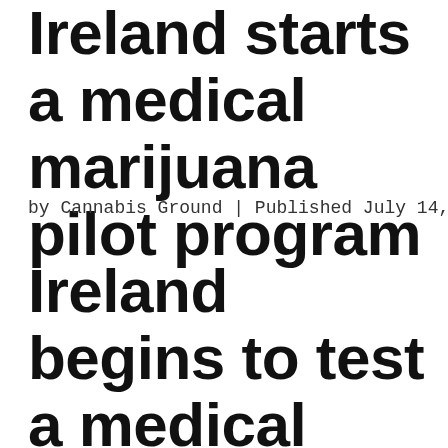Ireland starts a medical marijuana pilot program
by Cannabis Ground | Published July 14, 2019
Ireland begins to test a medical marijuana program for 5 years so that authorized...